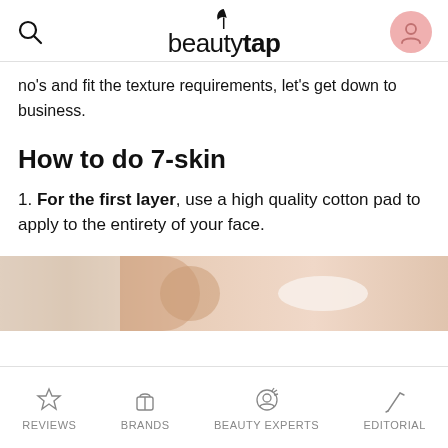beautytap
no's and fit the texture requirements, let's get down to business.
How to do 7-skin
1. For the first layer, use a high quality cotton pad to apply to the entirety of your face.
[Figure (photo): Close-up photo of a person's face/ear with a cotton pad, skin care application]
REVIEWS  BRANDS  BEAUTY EXPERTS  EDITORIAL